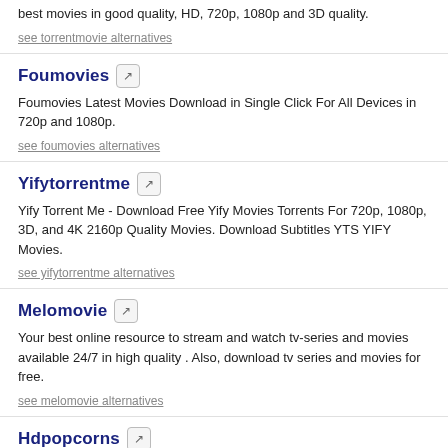best movies in good quality, HD, 720p, 1080p and 3D quality.
see torrentmovie alternatives
Foumovies
Foumovies Latest Movies Download in Single Click For All Devices in 720p and 1080p.
see foumovies alternatives
Yifytorrentme
Yify Torrent Me - Download Free Yify Movies Torrents For 720p, 1080p, 3D, and 4K 2160p Quality Movies. Download Subtitles YTS YIFY Movies.
see yifytorrentme alternatives
Melomovie
Your best online resource to stream and watch tv-series and movies available 24/7 in high quality . Also, download tv series and movies for free.
see melomovie alternatives
Hdpopcorns
full hd 1080p hollywood movies free download, full hd movies download 1080p, 720p hd movies hollywood free download hdpopcorns, hdpopcorn, hd popcorn, hdpopcorn
see hdpopcorns alternatives
Mkvcage
see mkvcage alternatives